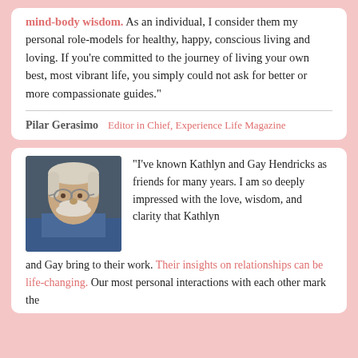mind-body wisdom. As an individual, I consider them my personal role-models for healthy, happy, conscious living and loving. If you're committed to the journey of living your own best, most vibrant life, you simply could not ask for better or more compassionate guides."
Pilar Gerasimo  Editor in Chief, Experience Life Magazine
[Figure (photo): Portrait photo of an older man with white hair and beard, wearing glasses and a blue shirt]
"I've known Kathlyn and Gay Hendricks as friends for many years. I am so deeply impressed with the love, wisdom, and clarity that Kathlyn and Gay bring to their work. Their insights on relationships can be life-changing. Our most personal interactions with each other mark the